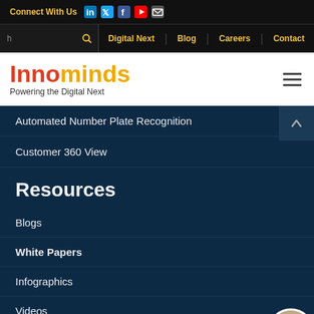Connect With Us
Digital Next | Blog | Careers | Contact
[Figure (logo): Innominds logo — 'Inno' in red, 'minds' in yellow/gold, tagline 'Powering the Digital Next' in dark gray]
Automated Number Plate Recognition
Customer 360 View
Resources
Blogs
White Papers
Infographics
Videos
Fireside Chats
Need any assistance?